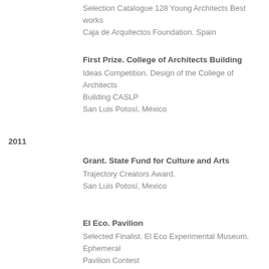Selection Catalogue 128 Young Architects Best works
Caja de Arquitectos Foundation. Spain
First Prize. College of Architects Building
Ideas Competition. Design of the College of Architects Building CASLP
San Luis Potosí, México
2011
Grant. State Fund for Culture and Arts
Trajectory Creators Award.
San Luis Potosí, Mexico
El Eco. Pavilion
Selected Finalist. El Eco Experimental Museum. Ephemeral Pavilion Contest
Mexico City